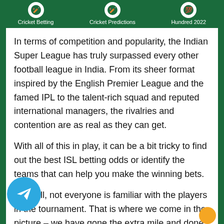Cricket Betting  Cricket Predictions  Hundred 2022
In terms of competition and popularity, the Indian Super League has truly surpassed every other football league in India. From its sheer format inspired by the English Premier League and the famed IPL to the talent-rich squad and reputed international managers, the rivalries and contention are as real as they can get.
With all of this in play, it can be a bit tricky to find out the best ISL betting odds or identify the teams that can help you make the winning bets.
After all, not everyone is familiar with the players in the tournament. That is where we come in the picture – we have gone the extra mile and done heavy research for you.
We have compiled the best betting sites and